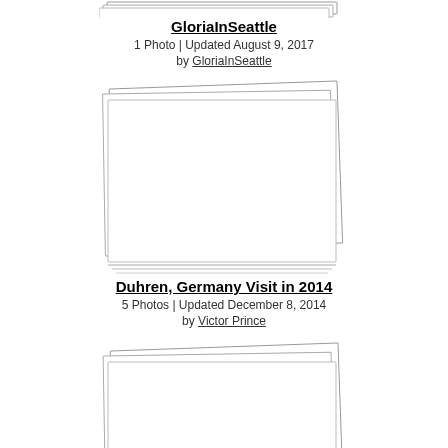[Figure (photo): Photo album stack placeholder (top, partially visible)]
GloriaInSeattle
1 Photo | Updated August 9, 2017
by GloriaInSeattle
[Figure (photo): Photo album stack with multiple layered cards]
Duhren, Germany Visit in 2014
5 Photos | Updated December 8, 2014
by Victor Prince
[Figure (photo): Photo album stack placeholder (bottom, partially visible)]